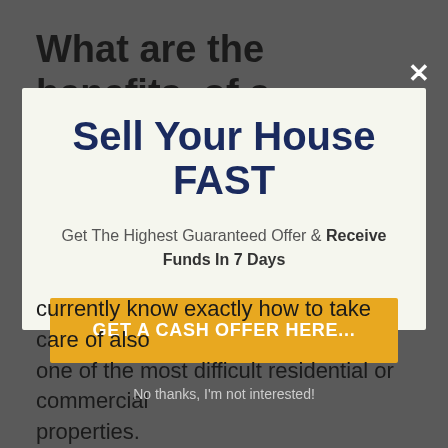What are the benefits, of a quick house sale solution?
Sell Your House FAST
Get The Highest Guaranteed Offer & Receive Funds In 7 Days
GET A CASH OFFER HERE...
currently know exactly how to take care of also one of the most difficult residential or commercial properties.
No thanks, I'm not interested!